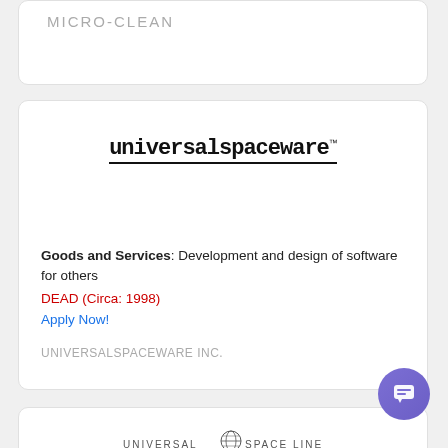MICRO-CLEAN
[Figure (logo): universalspaceware logo with underline and TM mark]
Goods and Services: Development and design of software for others
DEAD (Circa: 1998)
Apply Now!
UNIVERSALSPACEWARE INC.
[Figure (logo): Universal Space Lines logo with globe icon]